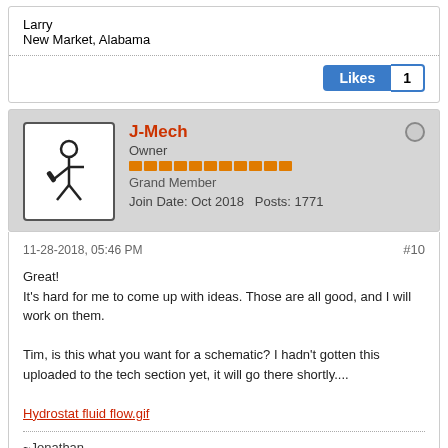Larry
New Market, Alabama
Likes  1
J-Mech
Owner
Grand Member
Join Date: Oct 2018   Posts: 1771
11-28-2018, 05:46 PM   #10
Great!
It's hard for me to come up with ideas. Those are all good, and I will work on them.

Tim, is this what you want for a schematic? I hadn't gotten this uploaded to the tech section yet, it will go there shortly....

Hydrostat fluid flow.gif
~Jonathan
Oblong, Illinois